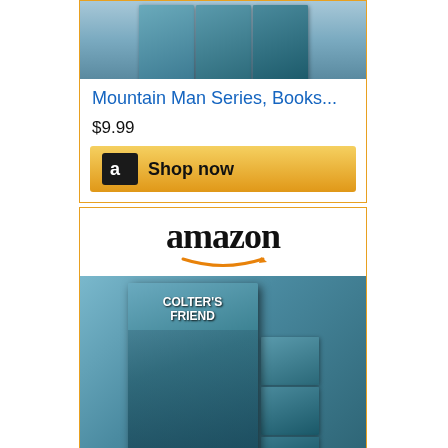[Figure (screenshot): Partial Amazon ad card showing book image at top, 'Mountain Man Series, Books...' link in blue, price $9.99, and golden 'Shop now' button with Amazon 'a' logo]
[Figure (screenshot): Full Amazon ad card with Amazon logo and smile, book cover image for 'Colter's Friend' Mountain Man Series, 'Mountain Man Series, Books...' link in blue, price $9.99, and golden 'Shop now' button]
[Figure (screenshot): Partial Amazon ad card showing Amazon logo and smile at top, cut off at bottom of page]